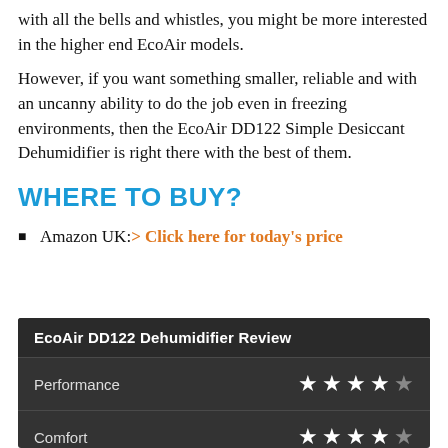with all the bells and whistles, you might be more interested in the higher end EcoAir models.
However, if you want something smaller, reliable and with an uncanny ability to do the job even in freezing environments, then the EcoAir DD122 Simple Desiccant Dehumidifier is right there with the best of them.
WHERE TO BUY?
Amazon UK: > Click here for today's price
| Category | Rating |
| --- | --- |
| Performance | 4/5 stars |
| Comfort | 4/5 stars |